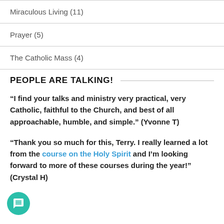Miraculous Living (11)
Prayer (5)
The Catholic Mass (4)
PEOPLE ARE TALKING!
“I find your talks and ministry very practical, very Catholic, faithful to the Church, and best of all approachable, humble, and simple.” (Yvonne T)
“Thank you so much for this, Terry. I really learned a lot from the course on the Holy Spirit and I’m looking forward to more of these courses during the year!” (Crystal H)